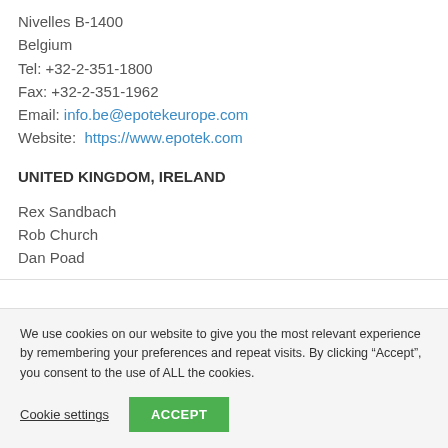Nivelles B-1400
Belgium
Tel: +32-2-351-1800
Fax: +32-2-351-1962
Email: info.be@epotekeurope.com
Website: https://www.epotek.com
UNITED KINGDOM, IRELAND
Rex Sandbach
Rob Church
Dan Poad
We use cookies on our website to give you the most relevant experience by remembering your preferences and repeat visits. By clicking “Accept”, you consent to the use of ALL the cookies.
Cookie settings
ACCEPT